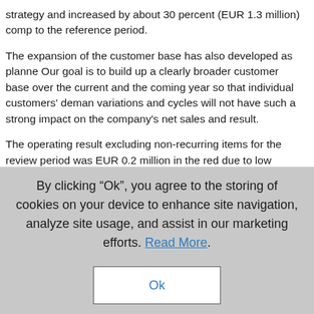strategy and increased by about 30 percent (EUR 1.3 million) comp to the reference period.
The expansion of the customer base has also developed as plann Our goal is to build up a clearly broader customer base over the current and the coming year so that individual customers' deman variations and cycles will not have such a strong impact on the company’s net sales and result.
The operating result excluding non-recurring items for the review period was EUR 0.2 million in the red due to low delivery volumes The company will record additional non-recurring expenses of approximately EUR 0.2 million on the closure of the Teuva plant; previous EUR 1.5 million reserve was exceeded by approximately E
By clicking “Ok”, you agree to the storing of cookies on your device to enhance site navigation, analyze site usage, and assist in our marketing efforts. Read More.
Ok